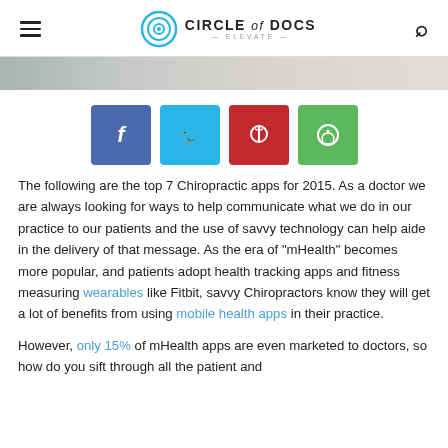Circle of Docs — Elevate
[Figure (illustration): Hero image strip showing partial photo at top of page]
[Figure (infographic): Four social share buttons: Facebook (blue), Twitter (cyan), Pinterest (red), WhatsApp (green)]
The following are the top 7 Chiropractic apps for 2015. As a doctor we are always looking for ways to help communicate what we do in our practice to our patients and the use of savvy technology can help aide in the delivery of that message. As the era of "mHealth" becomes more popular, and patients adopt health tracking apps and fitness measuring wearables like Fitbit, savvy Chiropractors know they will get a lot of benefits from using mobile health apps in their practice.
However, only 15% of mHealth apps are even marketed to doctors, so how do you sift through all the patient and